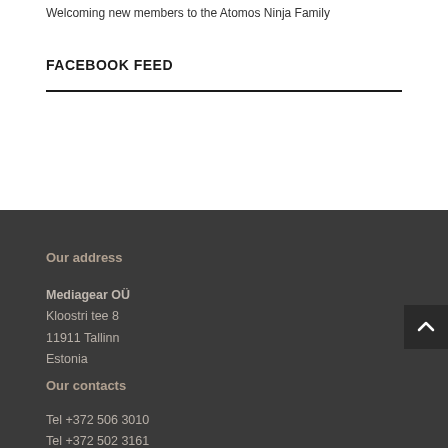Welcoming new members to the Atomos Ninja Family
FACEBOOK FEED
Our address
Mediagear OÜ
Kloostri tee 8
11911 Tallinn
Estonia
Our contacts
Tel +372 506 3010
Tel +372 502 3161